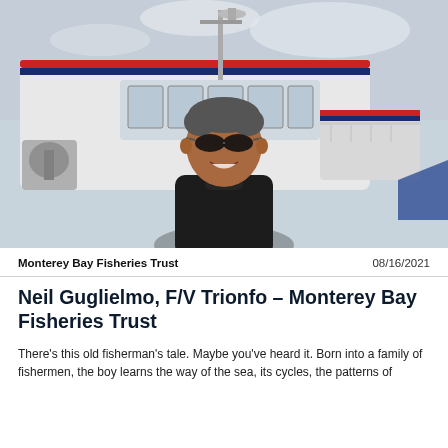[Figure (photo): A smiling older man with grey hair wearing aviator sunglasses and a dark polo shirt, standing in front of a white fishing boat with red and blue trim at a marina. The boat's cabin and mast are visible behind him against a partly cloudy sky.]
Monterey Bay Fisheries Trust	08/16/2021
Neil Guglielmo, F/V Trionfo – Monterey Bay Fisheries Trust
There's this old fisherman's tale. Maybe you've heard it. Born into a family of fishermen, the boy learns the way of the sea, its cycles, the patterns of